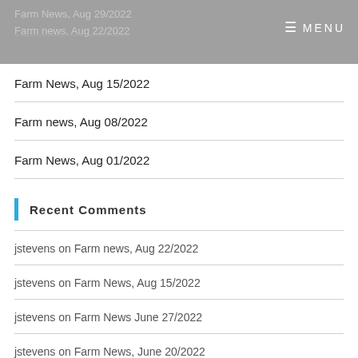Farm News, Aug 29/2022
Farm news, Aug 22/2022
MENU
Farm News, Aug 15/2022
Farm news, Aug 08/2022
Farm News, Aug 01/2022
Recent Comments
jstevens on Farm news, Aug 22/2022
jstevens on Farm News, Aug 15/2022
jstevens on Farm News June 27/2022
jstevens on Farm News, June 20/2022
Marlene Schellenberg on Farm news, Aug 22/2022